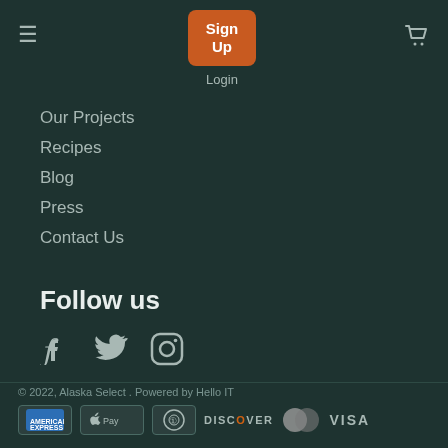≡   Sign Up   Login   🛒
Our Projects
Recipes
Blog
Press
Contact Us
Follow us
[Figure (illustration): Social media icons: Facebook, Twitter, Instagram]
© 2022, Alaska Select . Powered by Hello IT
[Figure (illustration): Payment method icons: American Express, Apple Pay, Diners Club, Discover, MasterCard, Visa]